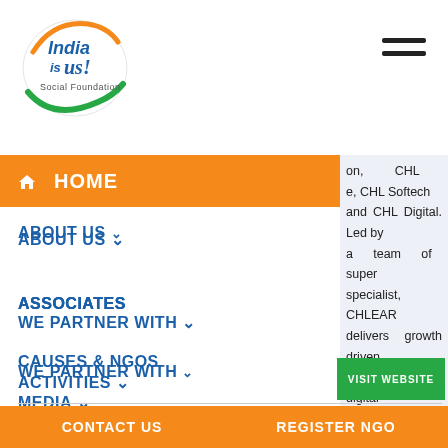[Figure (logo): India is Us! Social Foundation logo — circular logo with orange and blue text and green swash]
Hamburger menu icon (two horizontal bars)
HOME
on, CHL e, CHL Softech and CHL Digital. Led by a team of super specialist, CHLEAR delivers growth driven advertising and digital solutions globally.
ABOUT US
ASSOCIATES
WE PARTNER WITH
CAUSES & NGOS
ACTIVITIES
MEDIA
CONTACT
VISIT WEBSITE
CONTACT US
REGISTER NGO